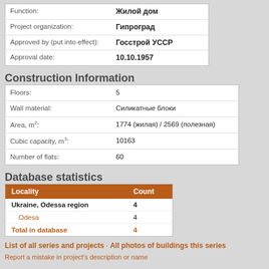| Function: | Жилой дом |
| Project organization: | Гипроград |
| Approved by (put into effect): | Госстрой УССР |
| Approval date: | 10.10.1957 |
Construction Information
| Floors: | 5 |
| Wall material: | Силикатные блоки |
| Area, m²: | 1774 (жилая) / 2569 (полезная) |
| Cubic capacity, m³: | 10163 |
| Number of flats: | 60 |
Database statistics
| Locality | Count |
| --- | --- |
| Ukraine, Odessa region | 4 |
| Odesa | 4 |
| Total in database | 4 |
List of all series and projects · All photos of buildings this series
Report a mistake in project's description or name